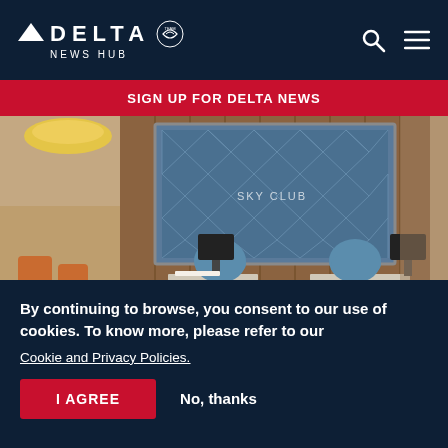DELTA NEWS HUB
SIGN UP FOR DELTA NEWS
[Figure (photo): Delta Air Lines Sky Club lounge interior showing a reception desk with two blue curved chairs, a quilted blue illuminated wall panel with 'SKY CLUB' text, wood paneling, and a chandelier-lit seating area with orange chairs in the background.]
By continuing to browse, you consent to our use of cookies. To know more, please refer to our Cookie and Privacy Policies.
I AGREE
No, thanks